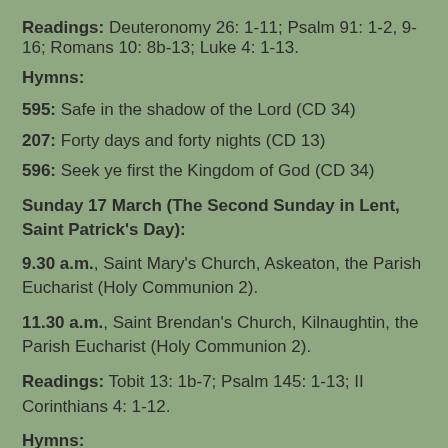Readings: Deuteronomy 26: 1-11; Psalm 91: 1-2, 9-16; Romans 10: 8b-13; Luke 4: 1-13.
Hymns:
595: Safe in the shadow of the Lord (CD 34)
207: Forty days and forty nights (CD 13)
596: Seek ye first the Kingdom of God (CD 34)
Sunday 17 March (The Second Sunday in Lent, Saint Patrick's Day):
9.30 a.m., Saint Mary's Church, Askeaton, the Parish Eucharist (Holy Communion 2).
11.30 a.m., Saint Brendan's Church, Kilnaughtin, the Parish Eucharist (Holy Communion 2).
Readings: Tobit 13: 1b-7; Psalm 145: 1-13; II Corinthians 4: 1-12.
Hymns: